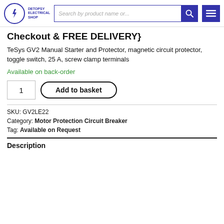DETOPSY ELECTRICAL SHOP | Search by product name or... | [search] [menu]
Checkout & FREE DELIVERY}
TeSys GV2 Manual Starter and Protector, magnetic circuit protector, toggle switch, 25 A, screw clamp terminals
Available on back-order
1  Add to basket
SKU: GV2LE22
Category: Motor Protection Circuit Breaker
Tag: Available on Request
Description